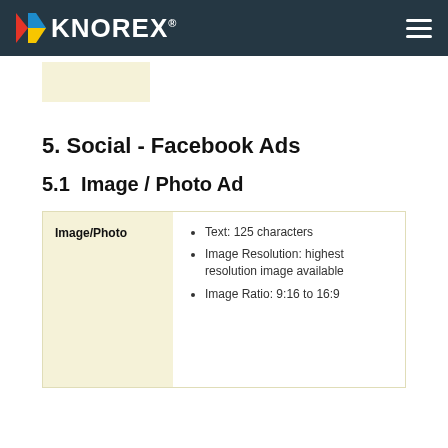KNOREX®
5. Social - Facebook Ads
5.1  Image / Photo Ad
| Image/Photo | Details |
| --- | --- |
| Image/Photo | Text: 125 characters
Image Resolution: highest resolution image available
Image Ratio: 9:16 to 16:9 |
Text: 125 characters
Image Resolution: highest resolution image available
Image Ratio: 9:16 to 16:9